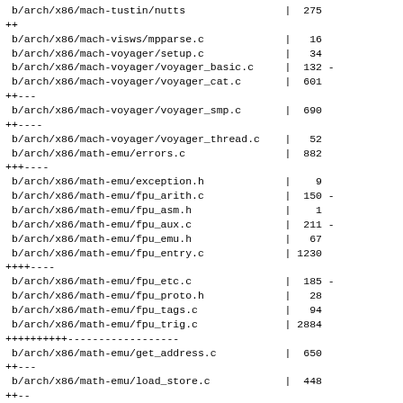b/arch/x86/mach-tustin/nutts  | 275
++
 b/arch/x86/mach-visws/mpparse.c             |  16
 b/arch/x86/mach-voyager/setup.c             |  34
 b/arch/x86/mach-voyager/voyager_basic.c     | 132 -
 b/arch/x86/mach-voyager/voyager_cat.c       | 601
++---
 b/arch/x86/mach-voyager/voyager_smp.c       | 690
++----
 b/arch/x86/mach-voyager/voyager_thread.c    |  52
 b/arch/x86/math-emu/errors.c                | 882
+++----
 b/arch/x86/math-emu/exception.h             |   9
 b/arch/x86/math-emu/fpu_arith.c             | 150 -
 b/arch/x86/math-emu/fpu_asm.h               |   1
 b/arch/x86/math-emu/fpu_aux.c               | 211 -
 b/arch/x86/math-emu/fpu_emu.h               |  67
 b/arch/x86/math-emu/fpu_entry.c             |1230
++++----
 b/arch/x86/math-emu/fpu_etc.c               | 185 -
 b/arch/x86/math-emu/fpu_proto.h             |  28
 b/arch/x86/math-emu/fpu_tags.c              |  94
 b/arch/x86/math-emu/fpu_trig.c              |2884
++++++++++------------------
 b/arch/x86/math-emu/get_address.c           | 650
++---
 b/arch/x86/math-emu/load_store.c            | 448
++--
 b/arch/x86/math-emu/poly.h                  |  69
 b/arch/x86/math-emu/poly_2xml.c             | 199 -
 b/arch/x86/math-emu/poly_atan.c             | 353